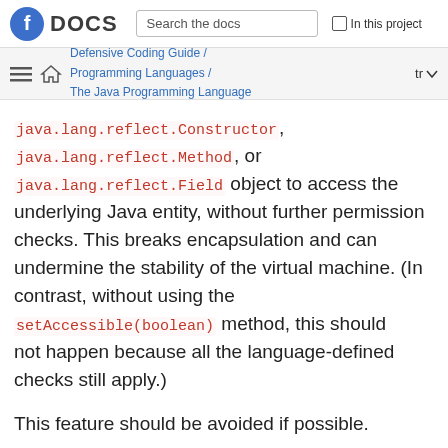DOCS | Search the docs | In this project
Defensive Coding Guide / Programming Languages / The Java Programming Language | tr
java.lang.reflect.Constructor, java.lang.reflect.Method, or java.lang.reflect.Field object to access the underlying Java entity, without further permission checks. This breaks encapsulation and can undermine the stability of the virtual machine. (In contrast, without using the setAccessible(boolean) method, this should not happen because all the language-defined checks still apply.)
This feature should be avoided if possible.